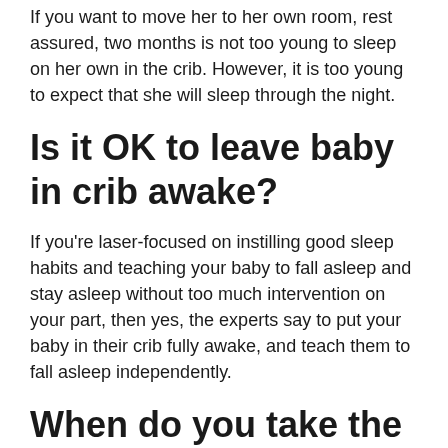If you want to move her to her own room, rest assured, two months is not too young to sleep on her own in the crib. However, it is too young to expect that she will sleep through the night.
Is it OK to leave baby in crib awake?
If you're laser-focused on instilling good sleep habits and teaching your baby to fall asleep and stay asleep without too much intervention on your part, then yes, the experts say to put your baby in their crib fully awake, and teach them to fall asleep independently.
When do you take the crib